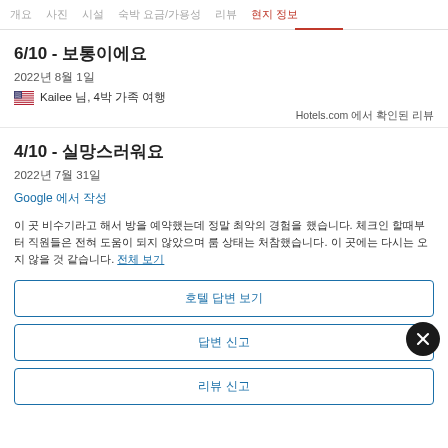개요  사진  시설  숙박 요금/가용성  리뷰  현지 정보
6/10 - 보통이에요
2022년 8월 1일
🇺🇸 Kailee 님, 4박 가족 여행
Hotels.com 에서 확인된 리뷰
4/10 - 실망스러워요
2022년 7월 31일
Google 에서 작성
이 곳 비수기라고 해서 방을 예약했는데 정말 최악의 경험을 했습니다. 체크인 할때부터 직원들은 전혀 도움이 되지 않았으며 룸 상태는 처참했습니다. 이 곳에는 다시는 오지 않을 것 같습니다. 전체 보기
호텔 답변 보기
답변 신고
리뷰 신고